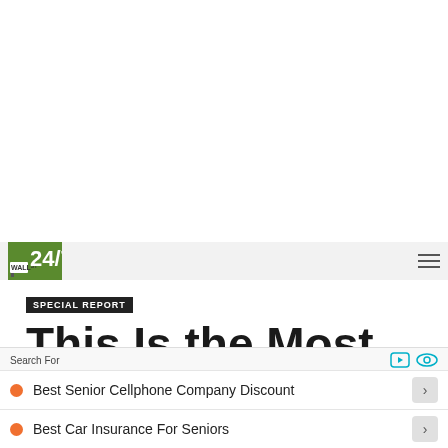[Figure (logo): 24/7 Wall St. logo - green square with white bold text '24/7' above 'WALL ST']
This Is the Most Dangerous State for COVID-19 in April
SPECIAL REPORT
Search For
Best Senior Cellphone Company Discount
Best Car Insurance For Seniors